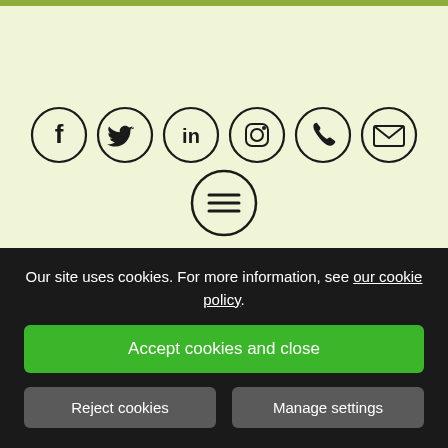[Figure (infographic): Social media and contact icons in circles: Facebook, Twitter, LinkedIn, Instagram, Phone, Email, and a hamburger menu icon]
Our site uses cookies. For more information, see our cookie policy.
Accept cookies and close
Reject cookies
Manage settings